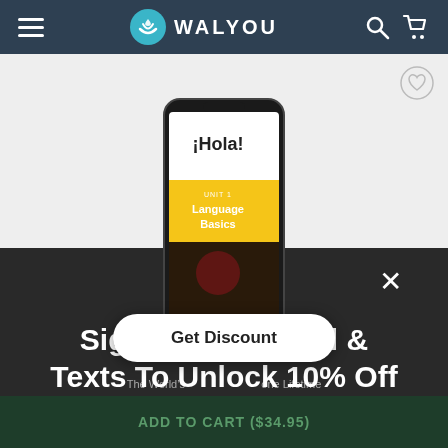WALYOU
[Figure (screenshot): Smartphone showing a Spanish language learning app with '¡Hola!' text and 'UNIT 1 Language Basics' lesson card on yellow background, phone positioned partially over a dark modal overlay]
Sign Up For Email & Texts To Unlock 10% Off
Get Discount
The World's ... one Lifetime
ADD TO CART ($34.95)